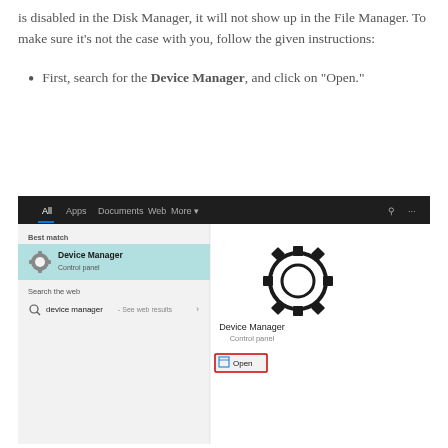is disabled in the Disk Manager, it will not show up in the File Manager. To make sure it's not the case with you, follow the given instructions:
First, search for the Device Manager, and click on "Open."
[Figure (screenshot): Windows search results showing Device Manager (Control panel) as best match, with the Open button highlighted in red on the right panel.]